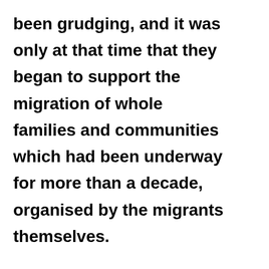been grudging, and it was only at that time that they began to support the migration of whole families and communities which had been underway for more than a decade, organised by the migrants themselves.

Then when we look at what the British governments themselves did to help the Jewish populations to reach safety in